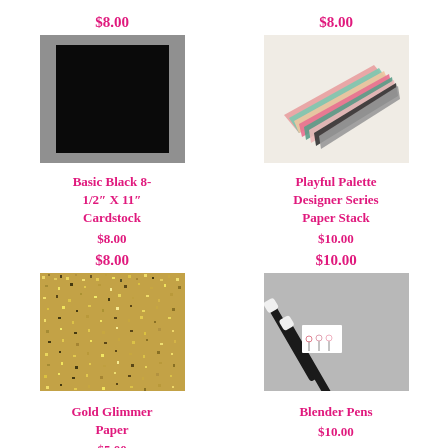$8.00
[Figure (photo): Basic Black 8-1/2 x 11 cardstock on gray background]
$8.00
[Figure (photo): Playful Palette Designer Series Paper Stack - fanned out colorful patterned papers]
Basic Black 8-1/2" X 11" Cardstock
$8.00
Playful Palette Designer Series Paper Stack
$10.00
$8.00
[Figure (photo): Gold Glimmer Paper - gold glittery textured sheet]
$10.00
[Figure (photo): Blender Pens - two black marker pens with white caps on gray background with flower card]
Gold Glimmer Paper
$5.00
Blender Pens
$10.00